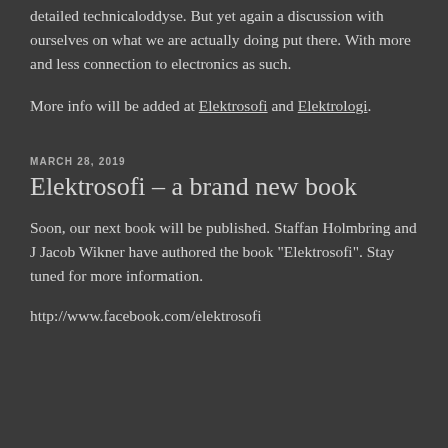detailed technical odysse. But yet again a discussion with ourselves on what we are actually doing put there. With more and less connection to electronics as such.
More info will be added at Elektrosofi and Elektrologi.
MARCH 28, 2019
Elektrosofi – a brand new book
Soon, our next book will be published. Staffan Holmbring and J Jacob Wikner have authored the book "Elektrosofi". Stay tuned for more information.
http://www.facebook.com/elektrosofi